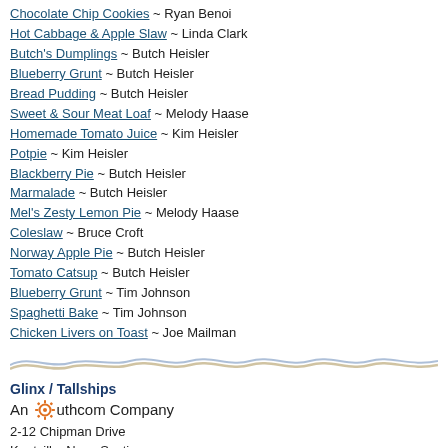Chocolate Chip Cookies ~ Ryan Benoi
Hot Cabbage & Apple Slaw ~ Linda Clark
Butch's Dumplings ~ Butch Heisler
Blueberry Grunt ~ Butch Heisler
Bread Pudding ~ Butch Heisler
Sweet & Sour Meat Loaf ~ Melody Haase
Homemade Tomato Juice ~ Kim Heisler
Potpie ~ Kim Heisler
Blackberry Pie ~ Butch Heisler
Marmalade ~ Butch Heisler
Mel's Zesty Lemon Pie ~ Melody Haase
Coleslaw ~ Bruce Croft
Norway Apple Pie ~ Butch Heisler
Tomato Catsup ~ Butch Heisler
Blueberry Grunt ~ Tim Johnson
Spaghetti Bake ~ Tim Johnson
Chicken Livers on Toast ~ Joe Mailman
[Figure (illustration): Decorative wavy divider line with two sinuous curves, tan/beige and blue/grey colors.]
Glinx / Tallships
[Figure (logo): An Authcom Company logo with orange gear/cog icon]
2-12 Chipman Drive
Kentville, Nova Scotia
Canada B4N 3V7
Inquiries:
Kentville :    902-365-3100